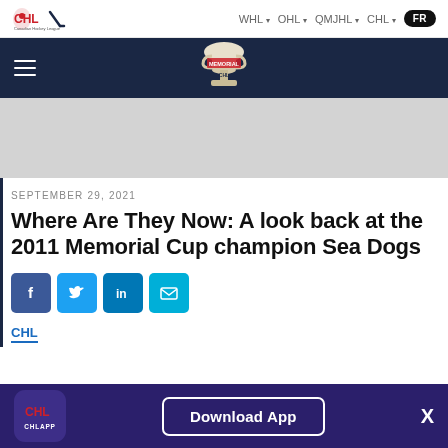CHL — WHL · OHL · QMJHL · CHL · FR
[Figure (logo): Memorial Cup logo on dark navy header bar with hamburger menu icon]
[Figure (other): Gray advertisement/banner placeholder area]
SEPTEMBER 29, 2021
Where Are They Now: A look back at the 2011 Memorial Cup champion Sea Dogs
[Figure (infographic): Social share buttons: Facebook (blue), Twitter (light blue), LinkedIn (blue), Email (teal)]
CHL
CHLAPP — Download App — X